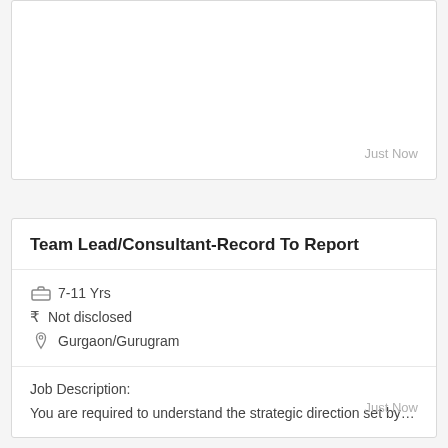Just Now
Team Lead/Consultant-Record To Report
7-11 Yrs
Not disclosed
Gurgaon/Gurugram
Job Description:
You are required to understand the strategic direction set by…
Just Now